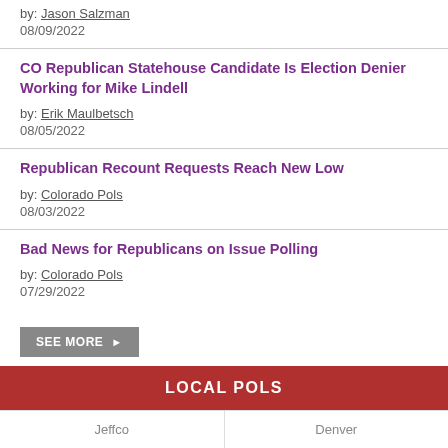by: Jason Salzman
08/09/2022
CO Republican Statehouse Candidate Is Election Denier Working for Mike Lindell
by: Erik Maulbetsch
08/05/2022
Republican Recount Requests Reach New Low
by: Colorado Pols
08/03/2022
Bad News for Republicans on Issue Polling
by: Colorado Pols
07/29/2022
SEE MORE ▶
LOCAL POLS
Jeffco     Denver